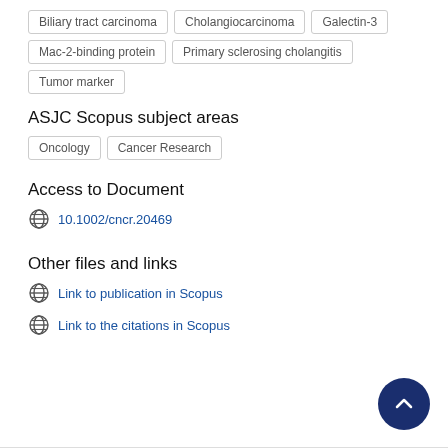Biliary tract carcinoma
Cholangiocarcinoma
Galectin-3
Mac-2-binding protein
Primary sclerosing cholangitis
Tumor marker
ASJC Scopus subject areas
Oncology
Cancer Research
Access to Document
10.1002/cncr.20469
Other files and links
Link to publication in Scopus
Link to the citations in Scopus